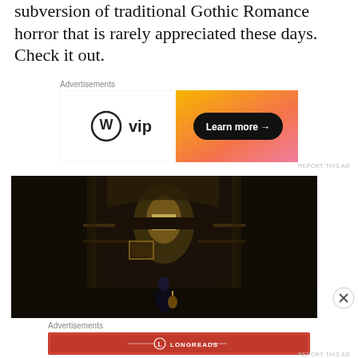subversion of traditional Gothic Romance horror that is rarely appreciated these days. Check it out.
Advertisements
[Figure (screenshot): WordPress VIP advertisement banner with orange gradient background and 'Learn more →' button]
[Figure (photo): Dark Gothic interior scene showing a grand ornate hallway with elaborate architecture, balconies, paintings, and figure walking toward lit archway with candle]
Advertisements
[Figure (screenshot): Longreads advertisement with red background: 'The best stories on the web – ours, and everyone else's.']